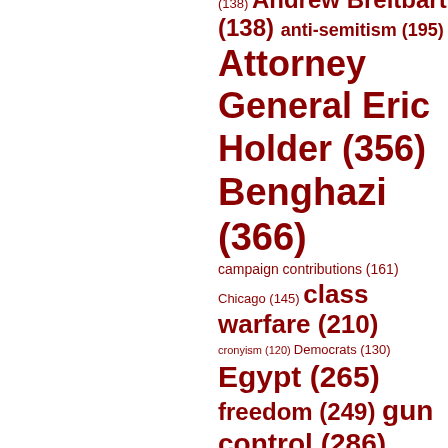[Figure (infographic): A tag cloud / word cloud showing political topics with frequencies in parentheses. Topics include: Andrew Breitbart (138), anti-semitism (195), Attorney General Eric Holder (356), Benghazi (366), campaign contributions (161), Chicago (145), class warfare (210), cronyism (120), Democrats (130), Egypt (265), freedom (249), gun control (286), Hamas (147), hypocrisy (354), Judge Andrew Napolitano (143), Libya (273), Mark Levin (161), Medicare (194), Mitt Romney (425), Muslim Brotherhood (265), Nancy Pelosi (224), Operation Fast and Furious (196), Patient Protection and...]